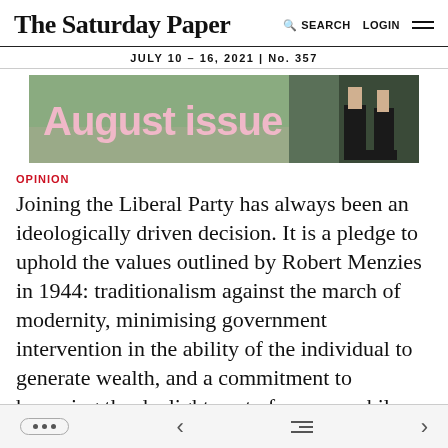The Saturday Paper | SEARCH LOGIN
JULY 10 – 16, 2021 | No. 357
[Figure (photo): Advertisement banner reading 'August issue' with pink text on a green outdoor background, person wearing dark rain boots visible on the right side.]
OPINION
Joining the Liberal Party has always been an ideologically driven decision. It is a pledge to uphold the values outlined by Robert Menzies in 1944: traditionalism against the march of modernity, minimising government intervention in the ability of the individual to generate wealth, and a commitment to harassing the daylights out of women while calling yourself things like